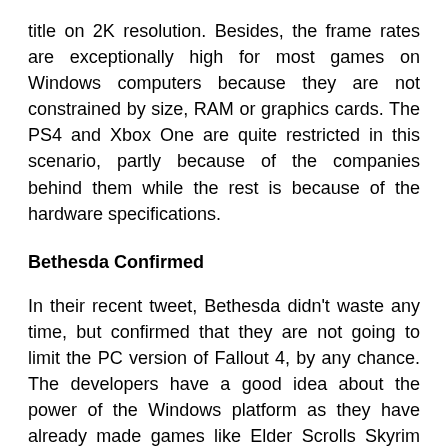title on 2K resolution. Besides, the frame rates are exceptionally high for most games on Windows computers because they are not constrained by size, RAM or graphics cards. The PS4 and Xbox One are quite restricted in this scenario, partly because of the companies behind them while the rest is because of the hardware specifications.
Bethesda Confirmed
In their recent tweet, Bethesda didn't waste any time, but confirmed that they are not going to limit the PC version of Fallout 4, by any chance. The developers have a good idea about the power of the Windows platform as they have already made games like Elder Scrolls Skyrim and Fallout 3 for the platforms. The Xbox One and Playstation 4 are completely new entrants. Developers are still grasping the way they